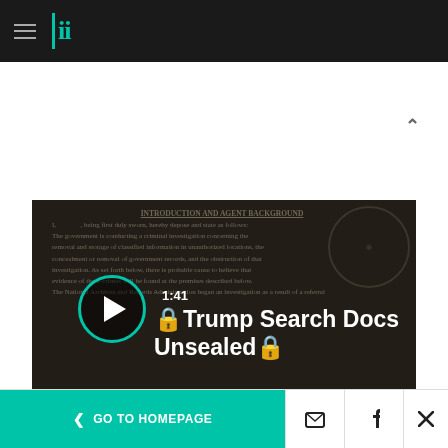HuffPost navigation with logo
[Figure (screenshot): Video thumbnail showing Trump search warrant documents with play button, duration 1:41, and title 'Trump Search Docs Unsealed']
[Figure (infographic): Social share icon buttons row: bookmark (red), Facebook (blue), Twitter (light blue), Pinterest (red), LinkedIn (teal), Email (grey), Comment (light grey)]
GO TO HOMEPAGE | Facebook share | Twitter share | Close